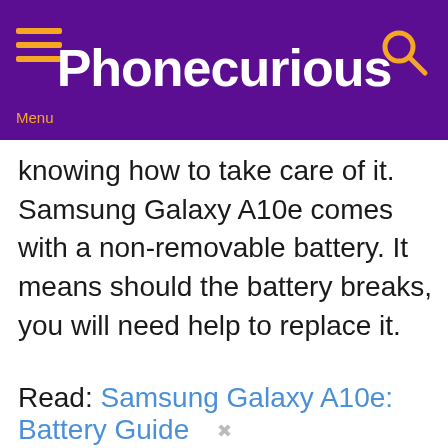Phonecurious
knowing how to take care of it. Samsung Galaxy A10e comes with a non-removable battery. It means should the battery breaks, you will need help to replace it.
Read: Samsung Galaxy A10e: Battery Guide